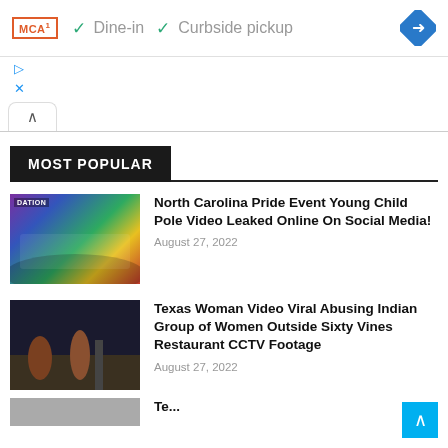[Figure (screenshot): Ad bar with MCA logo, Dine-in and Curbside pickup checkmarks, and Google Maps navigation icon]
▷
×
∧
MOST POPULAR
[Figure (photo): Crowd at NC Pride event holding large rainbow flag]
North Carolina Pride Event Young Child Pole Video Leaked Online On Social Media!
August 27, 2022
[Figure (photo): Texas woman video still from CCTV footage at parking lot]
Texas Woman Video Viral Abusing Indian Group of Women Outside Sixty Vines Restaurant CCTV Footage
August 27, 2022